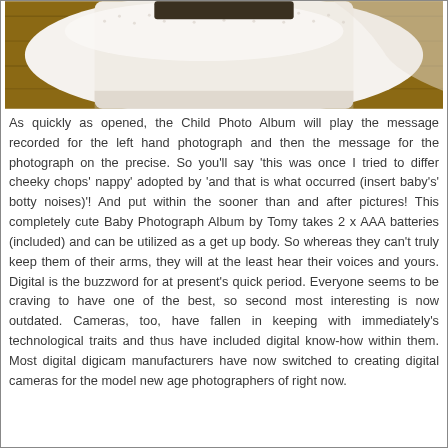[Figure (photo): A partial photograph showing the top portion — a white lace wedding dress or formal garment displayed on a wooden surface, cropped at the bottom.]
As quickly as opened, the Child Photo Album will play the message recorded for the left hand photograph and then the message for the photograph on the precise. So you'll say 'this was once I tried to differ cheeky chops' nappy' adopted by 'and that is what occurred (insert baby's' botty noises)'! And put within the sooner than and after pictures! This completely cute Baby Photograph Album by Tomy takes 2 x AAA batteries (included) and can be utilized as a get up body. So whereas they can't truly keep them of their arms, they will at the least hear their voices and yours. Digital is the buzzword for at present's quick period. Everyone seems to be craving to have one of the best, so second most interesting is now outdated. Cameras, too, have fallen in keeping with immediately's technological traits and thus have included digital know-how within them. Most digital digicam manufacturers have now switched to creating digital cameras for the model new age photographers of right now.